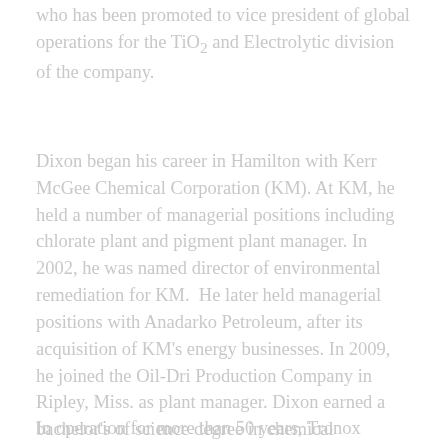who has been promoted to vice president of global operations for the TiO2 and Electrolytic division of the company.
Dixon began his career in Hamilton with Kerr McGee Chemical Corporation (KM). At KM, he held a number of managerial positions including chlorate plant and pigment plant manager. In 2002, he was named director of environmental remediation for KM. He later held managerial positions with Anadarko Petroleum, after its acquisition of KM's energy businesses. In 2009, he joined the Oil-Dri Production Company in Ripley, Miss. as plant manager. Dixon earned a bachelor's of science degree in chemical engineering from Mississippi State University and is a registered professional engineer in Miss. He resides in Columbus, Miss.
In operation for more than 50 years, Tronox Limited's